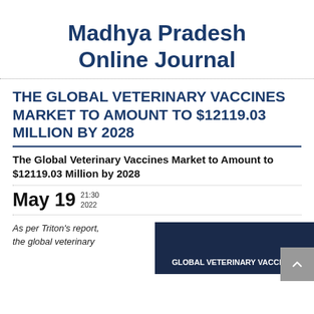Madhya Pradesh Online Journal
THE GLOBAL VETERINARY VACCINES MARKET TO AMOUNT TO $12119.03 MILLION BY 2028
The Global Veterinary Vaccines Market to Amount to $12119.03 Million by 2028
May 19  21:30  2022
As per Triton's report, the global veterinary
[Figure (photo): Dark blue background image with text 'GLOBAL VETERINARY VACCINES']